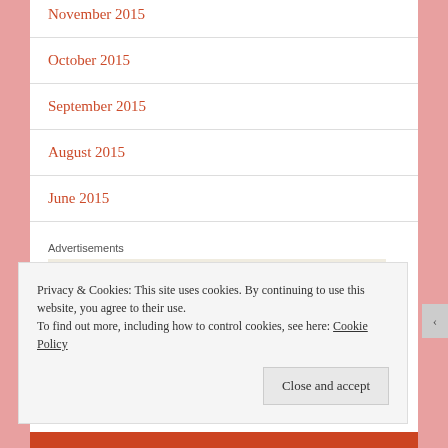November 2015
October 2015
September 2015
August 2015
June 2015
Advertisements
[Figure (logo): WordPress logo - circular W mark in black and white]
Privacy & Cookies: This site uses cookies. By continuing to use this website, you agree to their use.
To find out more, including how to control cookies, see here: Cookie Policy